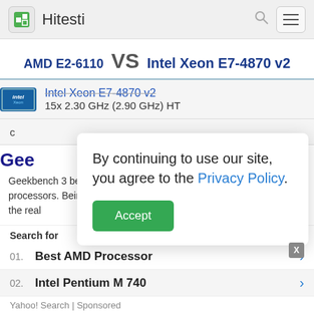Hitesti
AMD E2-6110 VS Intel Xeon E7-4870 v2
Intel Xeon E7-4870 v2 | 15x 2.30 GHz (2.90 GHz) HT
Gee
Geekbench 3 benchmark supports AMD and Intel multi-core processors. Being based on MAXON CINEMA 4D, it allow...btaining the real
By continuing to use our site, you agree to the Privacy Policy.
Accept
Search for
01. Best AMD Processor
02. Intel Pentium M 740
Yahoo! Search | Sponsored